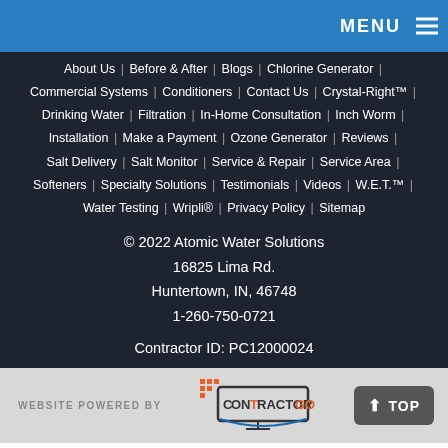MENU ☰
About Us | Before & After | Blogs | Chlorine Generator | Commercial Systems | Conditioners | Contact Us | Crystal-Right™ | Drinking Water | Filtration | In-Home Consultation | Inch Worm | Installation | Make a Payment | Ozone Generator | Reviews | Salt Delivery | Salt Monitor | Service & Repair | Service Area | Softeners | Specialty Solutions | Testimonials | Videos | W.E.T.™ | Water Testing | Wripli® | Privacy Policy | Sitemap
© 2022 Atomic Water Solutions
16825 Lima Rd.
Huntertown, IN, 46748
1-260-750-0721
Contractor ID: PC12000024
WEBSITE POWERED BY [Contractor Go logo] TOP